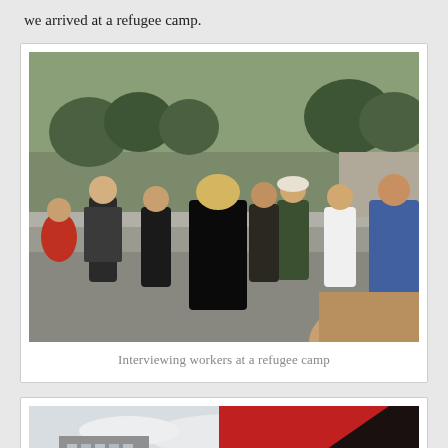we arrived at a refugee camp.
[Figure (photo): Group of people standing in a circle outdoors at a refugee camp, appearing to be in a discussion or interview. Background shows trees, a paved area, and low buildings. Some people wear backpacks.]
Interviewing workers at a refugee camp
[Figure (photo): Partial view of a tall residential apartment building with a flag or banner in the foreground, cloudy sky visible.]